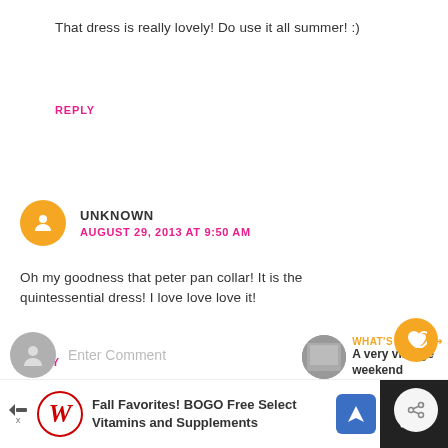That dress is really lovely! Do use it all summer! :)
REPLY
UNKNOWN
AUGUST 29, 2013 AT 9:50 AM
Oh my goodness that peter pan collar! It is the quintessential dress! I love love love it!
REPLY
Enter Comment
Fall Favorites! BOGO Free Select Vitamins and Supplements